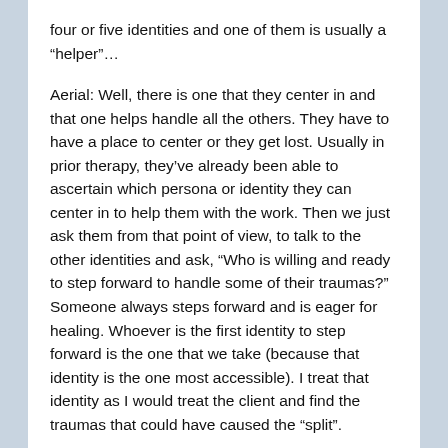four or five identities and one of them is usually a “helper”…
Aerial: Well, there is one that they center in and that one helps handle all the others. They have to have a place to center or they get lost. Usually in prior therapy, they’ve already been able to ascertain which persona or identity they can center in to help them with the work. Then we just ask them from that point of view, to talk to the other identities and ask, “Who is willing and ready to step forward to handle some of their traumas?” Someone always steps forward and is eager for healing. Whoever is the first identity to step forward is the one that we take (because that identity is the one most accessible). I treat that identity as I would treat the client and find the traumas that could have caused the “split”.